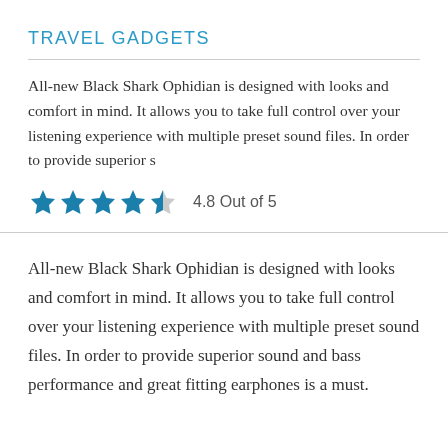TRAVEL GADGETS
All-new Black Shark Ophidian is designed with looks and comfort in mind. It allows you to take full control over your listening experience with multiple preset sound files. In order to provide superior s
4.8 Out of 5
All-new Black Shark Ophidian is designed with looks and comfort in mind. It allows you to take full control over your listening experience with multiple preset sound files. In order to provide superior sound and bass performance and great fitting earphones is a must.